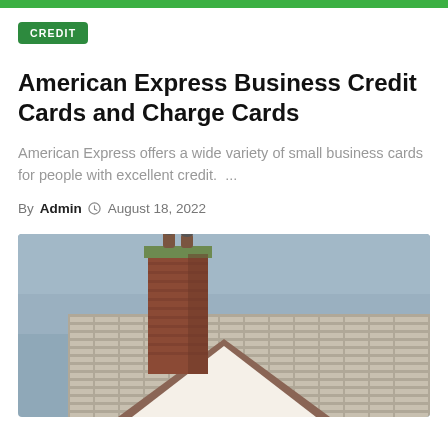CREDIT
American Express Business Credit Cards and Charge Cards
American Express offers a wide variety of small business cards for people with excellent credit.  ...
By Admin  August 18, 2022
[Figure (photo): Photograph of a brick chimney on a rooftop with scaffolding visible, against a grey-blue sky.]